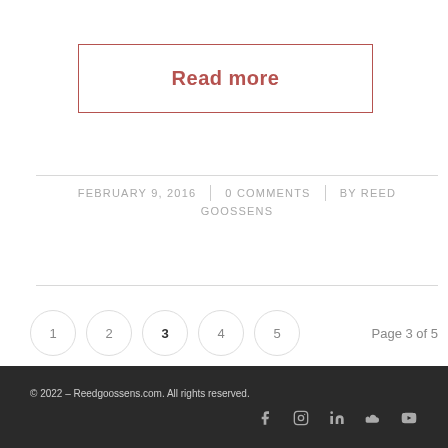Read more
FEBRUARY 9, 2016 | 0 COMMENTS | BY REED GOOSSENS
1 2 3 4 5  Page 3 of 5
© 2022 – Reedgoossens.com.  All rights reserved.